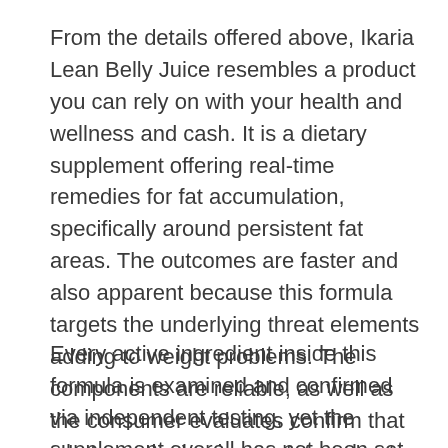From the details offered above, Ikaria Lean Belly Juice resembles a product you can rely on with your health and wellness and cash. It is a dietary supplement offering real-time remedies for fat accumulation, specifically around persistent fat areas. The outcomes are faster and also apparent because this formula targets the underlying threat elements adding to weight problems. The components are reliable, as well as the consumer evaluates confirm that whatever the business states about this formula is true.
Every active ingredient inside this formula is examined and confirmed via independent testing, yet the supplement overall has not been set for a medical trial. Typically, the supplements do not